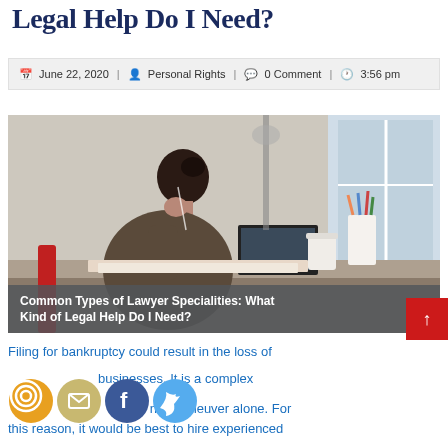Legal Help Do I Need?
June 22, 2020 | Personal Rights | 0 Comment | 3:56 pm
[Figure (photo): Woman sitting at desk, leaning on hand, working on papers near laptop, white brick wall background]
Common Types of Lawyer Specialities: What Kind of Legal Help Do I Need?
Filing for bankruptcy could result in the loss of property and businesses. It is a complex process that you cannot maneuver alone. For this reason, it would be best to hire experienced